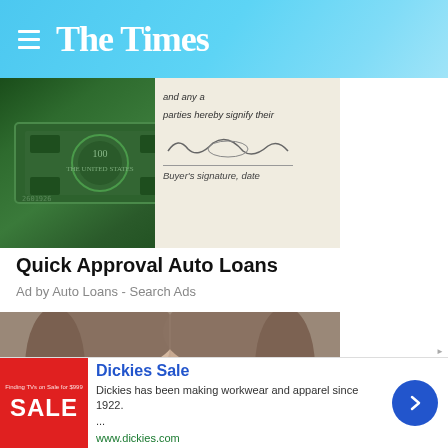The Times
[Figure (photo): Photo of cash money and a document with buyer's signature line and text 'parties hereby signify their' and 'Buyer's signature, date']
Quick Approval Auto Loans
Ad by Auto Loans - Search Ads
[Figure (photo): Close-up photo of two young girls (twins) with brown hair looking at the camera]
[Figure (photo): Advertisement banner: Dickies Sale. Dickies has been making workwear and apparel since 1922. ... www.dickies.com]